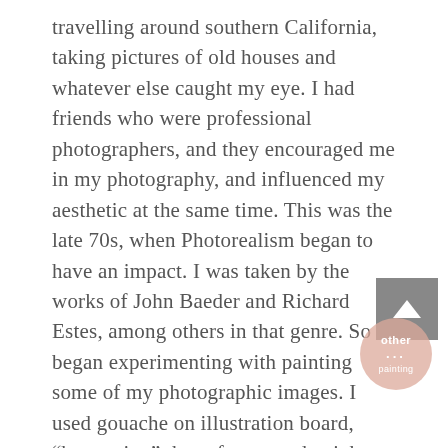travelling around southern California, taking pictures of old houses and whatever else caught my eye. I had friends who were professional photographers, and they encouraged me in my photography, and influenced my aesthetic at the same time. This was the late 70s, when Photorealism began to have an impact. I was taken by the works of John Baeder and Richard Estes, among others in that genre. So I began experimenting with painting some of my photographic images. I used gouache on illustration board, “borrowing” those from my day job as art director. Those images turned out well, and I even made a sale, but other life events intervened and I put painting aside for a few years, concentrating on